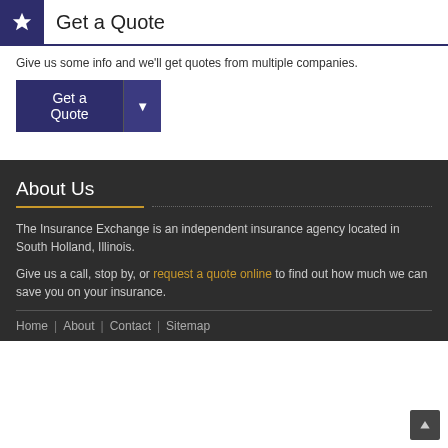Get a Quote
Give us some info and we'll get quotes from multiple companies.
About Us
The Insurance Exchange is an independent insurance agency located in South Holland, Illinois.
Give us a call, stop by, or request a quote online to find out how much we can save you on your insurance.
Home | About | Contact | Sitemap